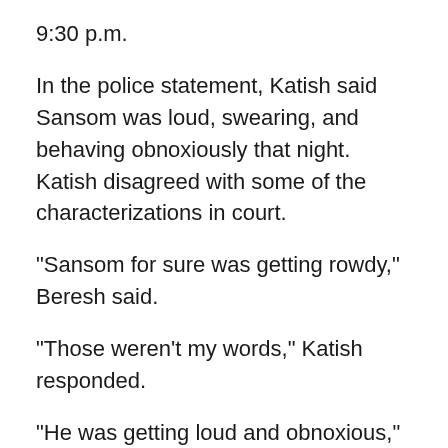9:30 p.m.
In the police statement, Katish said Sansom was loud, swearing, and behaving obnoxiously that night. Katish disagreed with some of the characterizations in court.
“Sansom for sure was getting rowdy,” Beresh said.
“Those weren't my words,” Katish responded.
“He was getting loud and obnoxious,” Beresh said.
“He was getting loud,” Katish responded.
Katish said later that night they went to pick up more drinks from a friend.